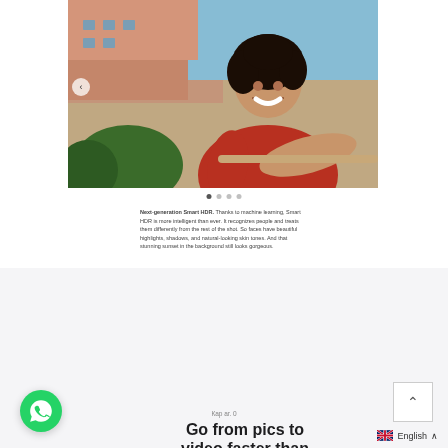[Figure (photo): Photo of a smiling person with curly dark hair wearing a red-orange shirt, leaning against a railing with a building and blue sky in the background. Carousel navigation arrows on left and right.]
Next-generation Smart HDR. Thanks to machine learning, Smart HDR is more intelligent than ever. It recognizes people and treats them differently from the rest of the shot. So faces have beautiful highlights, shadows, and natural-looking skin tones. And that stunning sunset in the background still looks gorgeous.
[Figure (photo): iPhone camera app interface showing recording mode with a red square record button in a white circle and a white shutter button circle on a dark background with green foliage.]
Кар аг. 0
Go from pics to video faster than